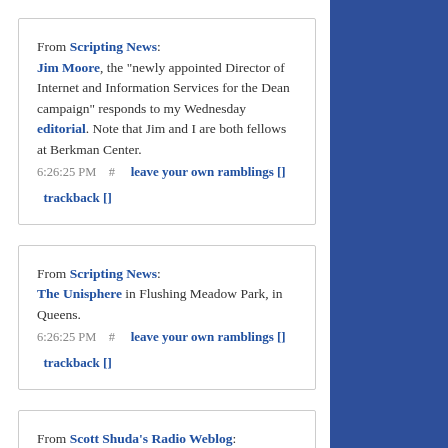From Scripting News: Jim Moore, the "newly appointed Director of Internet and Information Services for the Dean campaign" responds to my Wednesday editorial. Note that Jim and I are both fellows at Berkman Center. 6:26:25 PM  #    leave your own ramblings []   trackback []
From Scripting News: The Unisphere in Flushing Meadow Park, in Queens. 6:26:25 PM  #    leave your own ramblings []   trackback []
From Scott Shuda's Radio Weblog: Optimistic Bush vs. Pessimistic Dean. President Bush's campaign has settled on